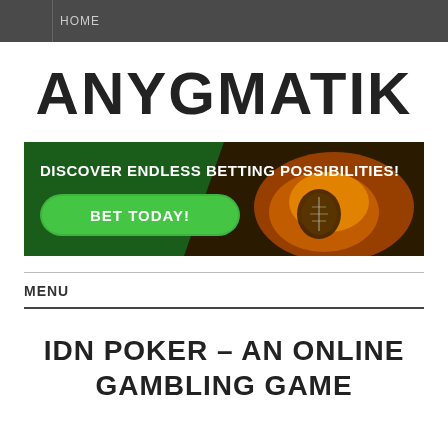HOME
ANYGMATIK
[Figure (infographic): Advertisement banner with dark green and orange background showing a flaming football. Text reads: DISCOVER ENDLESS BETTING POSSIBILITIES! with a green BET TODAY! button.]
MENU
IDN POKER – AN ONLINE GAMBLING GAME